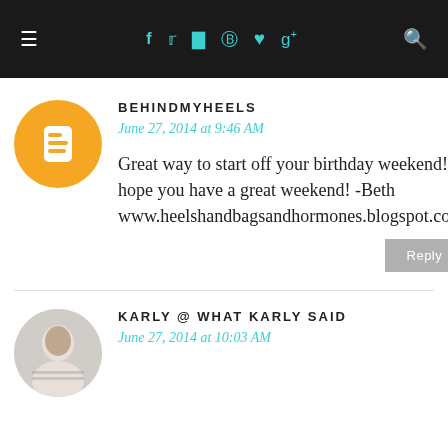≡  f  t  ☷  ℗  ♥  g+  🔍
BEHINDMYHEELS
June 27, 2014 at 9:46 AM
Great way to start off your birthday weekend! I hope you have a great weekend! -Beth www.heelshandbagsandhormones.blogspot.com
Reply
KARLY @ WHAT KARLY SAID
June 27, 2014 at 10:03 AM